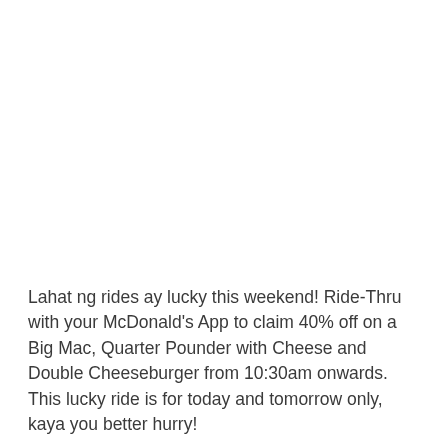Lahat ng rides ay lucky this weekend! Ride-Thru with your McDonald's App to claim 40% off on a Big Mac, Quarter Pounder with Cheese and Double Cheeseburger from 10:30am onwards. This lucky ride is for today and tomorrow only, kaya you better hurry!